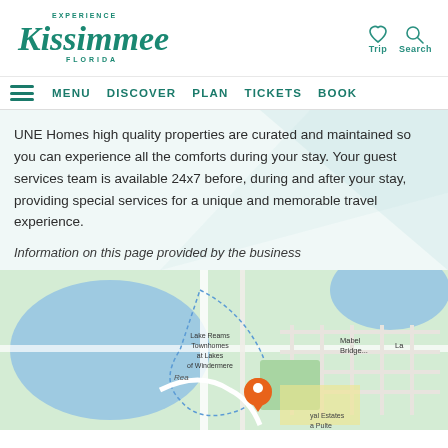[Figure (logo): Experience Kissimmee Florida teal cursive logo]
Trip  Search
MENU  DISCOVER  PLAN  TICKETS  BOOK
UNE Homes high quality properties are curated and maintained so you can experience all the comforts during your stay. Your guest services team is available 24x7 before, during and after your stay, providing special services for a unique and memorable travel experience.
Information on this page provided by the business
[Figure (map): Street map showing Lake Reams Townhomes at Lakes of Windermere, Mabel Bridge area, Royal Estates, with orange location pin marker]